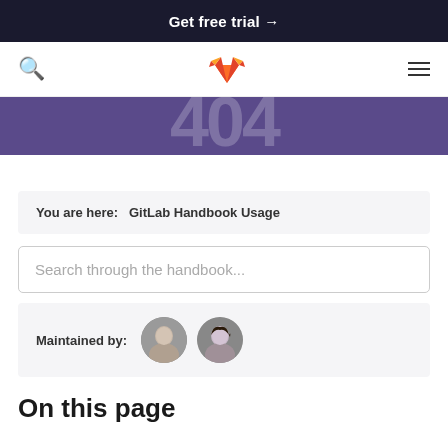Get free trial →
[Figure (logo): GitLab fox logo in orange and red in the navigation bar]
[Figure (other): Purple hero band with large partially visible text/numbers]
You are here:   GitLab Handbook Usage
Search through the handbook...
Maintained by:
[Figure (photo): Two circular avatar photos of maintainers]
On this page